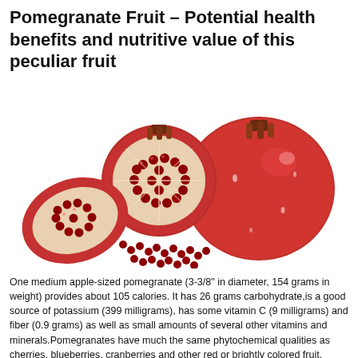Pomegranate Fruit – Potential health benefits and nutritive value of this peculiar fruit
[Figure (photo): Photo of pomegranates: one whole red pomegranate on the right, one cut open in the center showing red arils, and two broken pieces on the left also showing arils, against a white background.]
One medium apple-sized pomegranate (3-3/8" in diameter, 154 grams in weight) provides about 105 calories. It has 26 grams carbohydrate,is a good source of potassium (399 milligrams), has some vitamin C (9 milligrams) and fiber (0.9 grams) as well as small amounts of several other vitamins and minerals.Pomegranates have much the same phytochemical qualities as cherries, blueberries, cranberries and other red or brightly colored fruit.